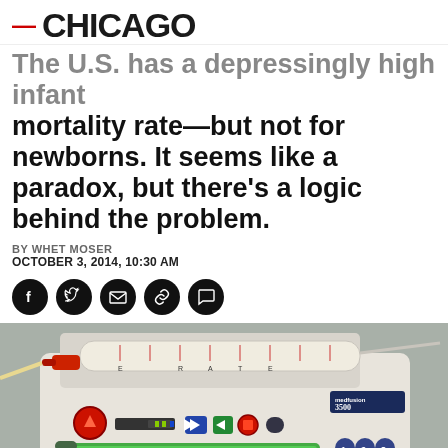— CHICAGO
The U.S. has a depressingly high infant mortality rate—but not for newborns. It seems like a paradox, but there's a logic behind the problem.
BY WHET MOSER
OCTOBER 3, 2014, 10:30 AM
[Figure (photo): Close-up photograph of a medical infusion pump (Medfusion 3500) with a green LCD display showing rate of 12 mL/hr and total volume 4.642 mL, with a handwritten note on the device reading 'Please change my Syringe']